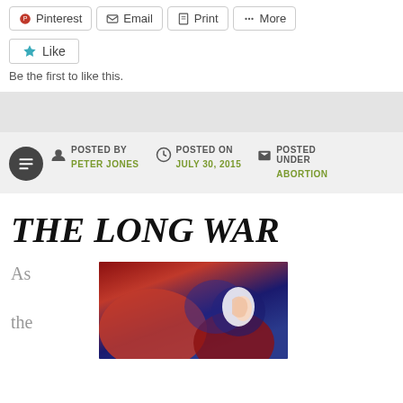[Figure (screenshot): Social share buttons row: Pinterest, Email, Print, More]
[Figure (screenshot): Like button with star icon and 'Be the first to like this.' text below]
[Figure (screenshot): Gray decorative band separator]
POSTED BY PETER JONES   POSTED ON JULY 30, 2015   POSTED UNDER ABORTION
THE LONG WAR
As the
[Figure (photo): Close-up image of embryo/fetus cells in red and blue tones with a white glowing form]